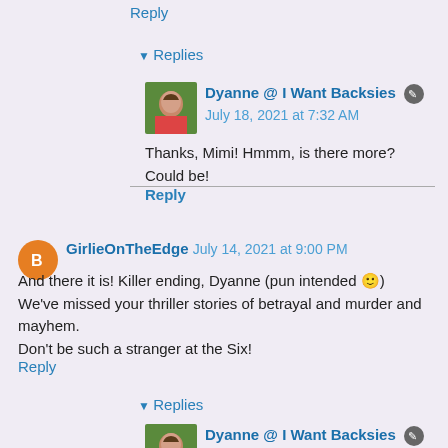Reply
▼ Replies
Dyanne @ I Want Backsies ✎ July 18, 2021 at 7:32 AM
Thanks, Mimi! Hmmm, is there more? Could be!
Reply
GirlieOnTheEdge July 14, 2021 at 9:00 PM
And there it is! Killer ending, Dyanne (pun intended 🙂)
We've missed your thriller stories of betrayal and murder and mayhem.
Don't be such a stranger at the Six!
Reply
▼ Replies
Dyanne @ I Want Backsies ✎ July 18, 2021 at